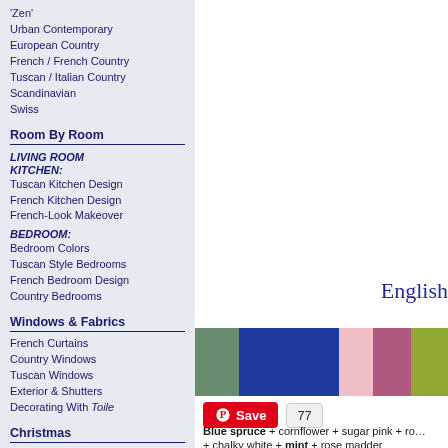'Zen'
Urban Contemporary
European Country
French / French Country
Tuscan / Italian Country
Scandinavian
Swiss
Room By Room
LIVING ROOM
KITCHEN:
Tuscan Kitchen Design
French Kitchen Design
French-Look Makeover
BEDROOM:
Bedroom Colors
Tuscan Style Bedrooms
French Bedroom Design
Country Bedrooms
Windows & Fabrics
French Curtains
Country Windows
Tuscan Windows
Exterior & Shutters
Decorating With Toile
Christmas
Christmas Table Settings
Xmas Tree Decorating
English
[Figure (infographic): Color swatches row: blue-spruce green, cornflower blue (large), sugar pink (light pink), rose madder (dark pink), and olive/chartreuse green]
Save 77
Blue spruce + cornflower + sugar pink + ro... + chalky white + mint + rose madder